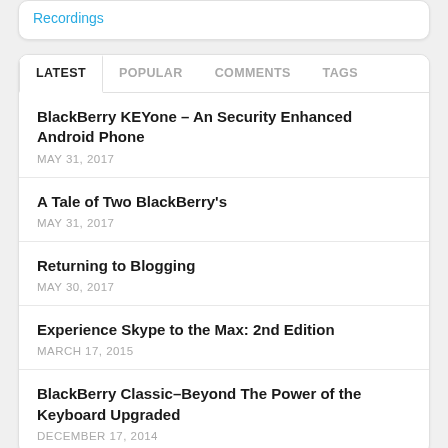Recordings
LATEST | POPULAR | COMMENTS | TAGS
BlackBerry KEYone – An Security Enhanced Android Phone
MAY 31, 2017
A Tale of Two BlackBerry's
MAY 31, 2017
Returning to Blogging
MAY 30, 2017
Experience Skype to the Max: 2nd Edition
MARCH 17, 2015
BlackBerry Classic–Beyond The Power of the Keyboard Upgraded
DECEMBER 17, 2014